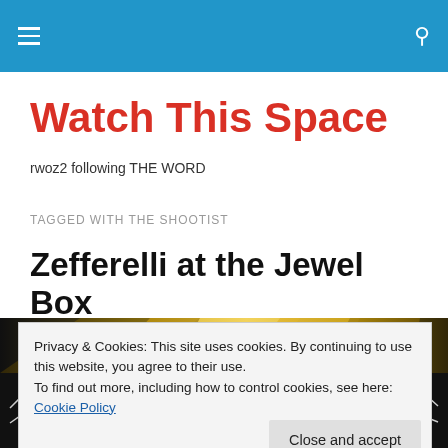Watch This Space
rwoz2 following THE WORD
TAGGED WITH THE SHOOTIST
Zefferelli at the Jewel Box
[Figure (photo): Dark background with gold/yellow abstract light rays at top, waveform lines visible at lower left, person silhouette at bottom center]
Privacy & Cookies: This site uses cookies. By continuing to use this website, you agree to their use.
To find out more, including how to control cookies, see here: Cookie Policy
Close and accept